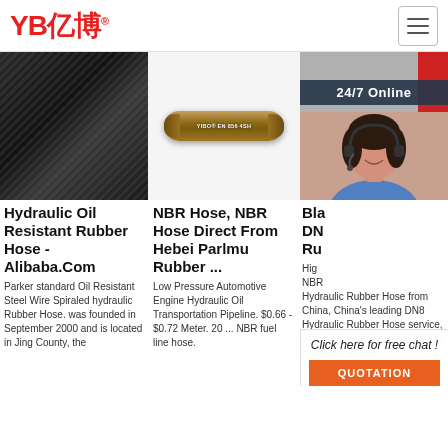[Figure (logo): YB亿博 logo in red with registered trademark symbol]
[Figure (photo): Close-up of black hydraulic rubber hose with spiral wire texture]
[Figure (photo): NBR hose cylindrical product, YIBO EN 856 4SH label, on light background]
[Figure (photo): 24/7 Online banner with customer service woman wearing headset, red accent on right side]
Hydraulic Oil Resistant Rubber Hose - Alibaba.Com
Parker standard Oil Resistant Steel Wire Spiraled hydraulic Rubber Hose. was founded in September 2000 and is located in Jing County, the
NBR Hose, NBR Hose Direct From Hebei Parlmu Rubber ...
Low Pressure Automotive Engine Hydraulic Oil Transportation Pipeline. $0.66 - $0.72 Meter. 20 ... NBR fuel line hose.
Bla DN Ru
High NBR Hydraulic Rubber Hose from China, China's leading DN8 Hydraulic Rubber Hose service, with strict quality control 1sn Hydraulic Rubber
Click here for free chat !
QUOTATION